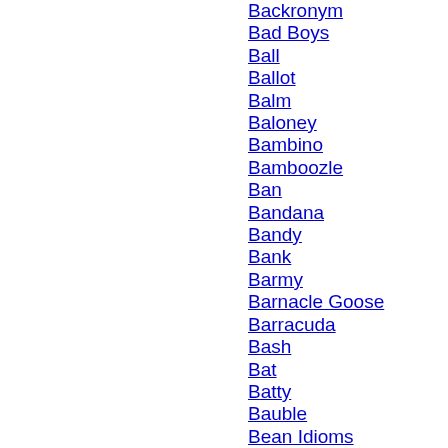Backronym
Bad Boys
Ball
Ballot
Balm
Baloney
Bambino
Bamboozle
Ban
Bandana
Bandy
Bank
Barmy
Barnacle Goose
Barracuda
Bash
Bat
Batty
Bauble
Bean Idioms
Beanie
Beanpole